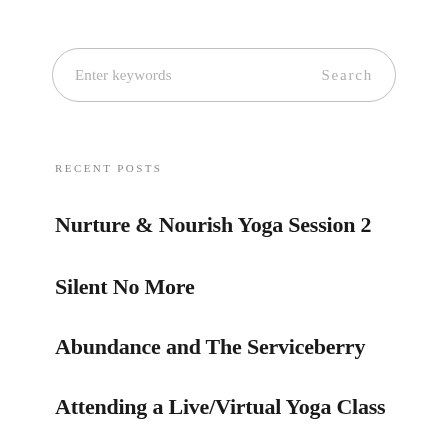[Figure (screenshot): Search bar with placeholder text 'Enter keywords' and 'Search' button on the right, with rounded border]
RECENT POSTS
Nurture & Nourish Yoga Session 2
Silent No More
Abundance and The Serviceberry
Attending a Live/Virtual Yoga Class
(no title)